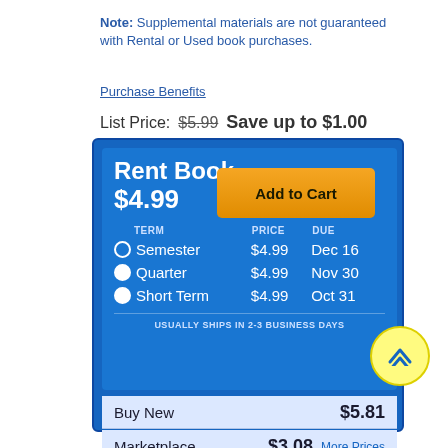Note: Supplemental materials are not guaranteed with Rental or Used book purchases.
Purchase Benefits
List Price: $5.99  Save up to $1.00
| TERM | PRICE | DUE |
| --- | --- | --- |
| Semester | $4.99 | Dec 16 |
| Quarter | $4.99 | Nov 30 |
| Short Term | $4.99 | Oct 31 |
USUALLY SHIPS IN 2-3 BUSINESS DAYS
Buy New  $5.81
Marketplace  $3.08  More Prices